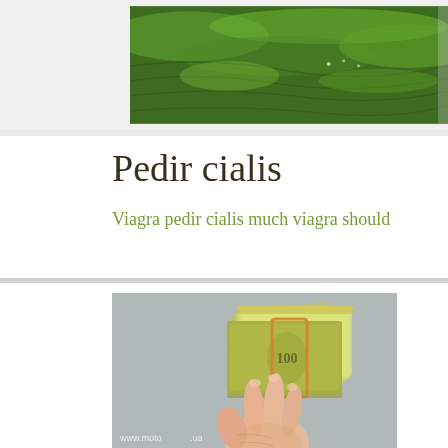[Figure (photo): Green terraced fields landscape banner at top of page]
Pedir cialis
Viagra pedir cialis much viagra should
[Figure (photo): Hand holding a large bundle of US dollar bills bound with a rubber band, with watermark text www.moto...ua at the bottom left]